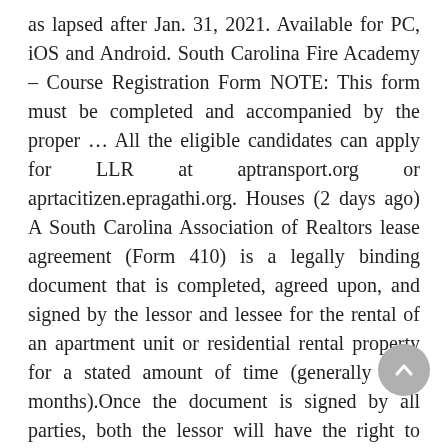as lapsed after Jan. 31, 2021. Available for PC, iOS and Android. South Carolina Fire Academy – Course Registration Form NOTE: This form must be completed and accompanied by the proper … All the eligible candidates can apply for LLR at aptransport.org or aprtacitizen.epragathi.org. Houses (2 days ago) A South Carolina Association of Realtors lease agreement (Form 410) is a legally binding document that is completed, agreed upon, and signed by the lessor and lessee for the rental of an apartment unit or residential rental property for a stated amount of time (generally 6-12 months).Once the document is signed by all parties, both the lessor will have the right to enforce all aspects of the … https://eforms.com/rental/sc/south-carolina-association-of-realtors-lease-agreement-form-410/, Houses (3 days ago) BUYER SELLER IS A SOUTH CAROLINA REAL ESTATE LICENSEE a combination of Finance and Cash USD or interests, improvements, landscape, customs, and fixtures if any thereon and further